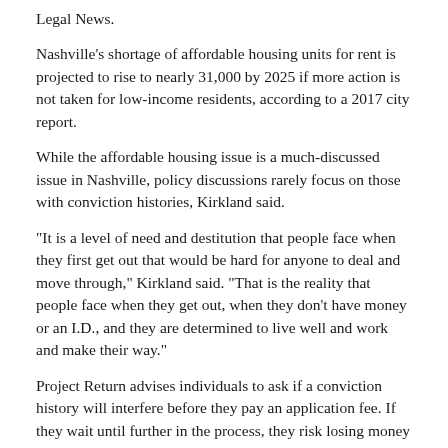Legal News.
Nashville's shortage of affordable housing units for rent is projected to rise to nearly 31,000 by 2025 if more action is not taken for low-income residents, according to a 2017 city report.
While the affordable housing issue is a much-discussed issue in Nashville, policy discussions rarely focus on those with conviction histories, Kirkland said.
"It is a level of need and destitution that people face when they first get out that would be hard for anyone to deal and move through," Kirkland said. "That is the reality that people face when they get out, when they don't have money or an I.D., and they are determined to live well and work and make their way."
Project Return advises individuals to ask if a conviction history will interfere before they pay an application fee. If they wait until further in the process, they risk losing money on each application, Kirkland said.
Tennessee has a 47 percent recidivism rate. The two main factors influencing recidivism are jobs and housing, so creating more housing options could help individuals avoid re-offending, Friedmann said.
"It's a very significant issue," Friedmann said. "If we want less crime and recidivism, then it is part of our responsibility as a community to ensure